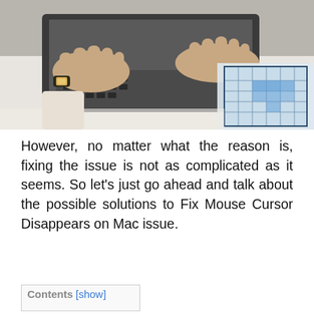[Figure (photo): A person's hands typing on a laptop keyboard, with architectural/engineering blueprints and drawings visible on the right side of the image. The person is wearing a watch.]
However, no matter what the reason is, fixing the issue is not as complicated as it seems. So let's just go ahead and talk about the possible solutions to Fix Mouse Cursor Disappears on Mac issue.
Contents [show]